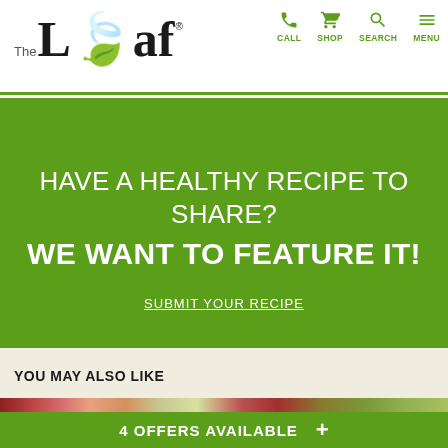The Leaf — CALL SHOP SEARCH MENU
HAVE A HEALTHY RECIPE TO SHARE? WE WANT TO FEATURE IT!
SUBMIT YOUR RECIPE
YOU MAY ALSO LIKE
[Figure (photo): Partial view of fruit/food images in a horizontal strip]
4 OFFERS AVAILABLE +